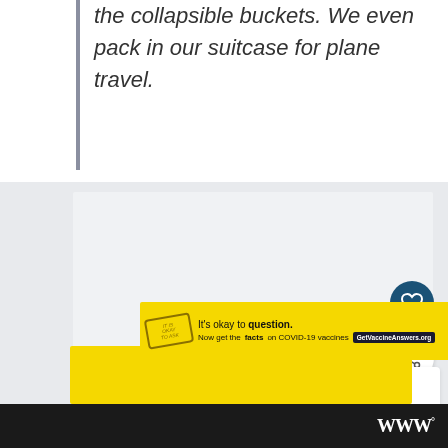the collapsible buckets. We even pack in our suitcase for plane travel.
[Figure (photo): Image placeholder area with carousel dots indicator, heart/favorite button and share button on the right side. A 'What's Next' panel shows a thumbnail and text reading 'Ultimate Family Beac...']
[Figure (infographic): Advertisement banner: 'It's okay to question. Now get the facts on COVID-19 vaccines GetVaccineAnswers.org' on a yellow background with a close button. Footer bar with W degree logo.]